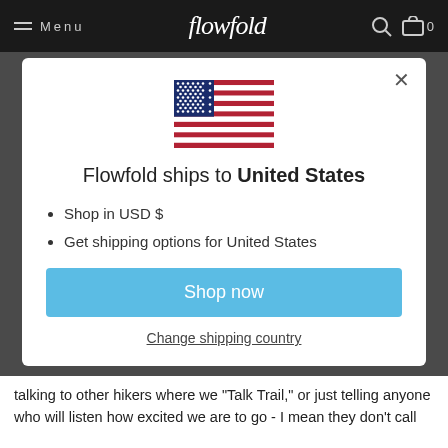Menu | flowfold | 0
[Figure (screenshot): Modal dialog showing US flag, shipping info for United States, Shop now button, and Change shipping country link]
Flowfold ships to United States
Shop in USD $
Get shipping options for United States
Shop now
Change shipping country
talking to other hikers where we “Talk Trail,” or just telling anyone who will listen how excited we are to go - I mean they don’t call